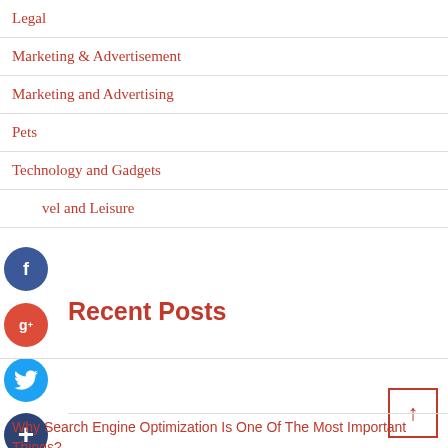Legal
Marketing & Advertisement
Marketing and Advertising
Pets
Technology and Gadgets
Travel and Leisure
Recent Posts
Why Search Engine Optimization Is One Of The Most Important Things?